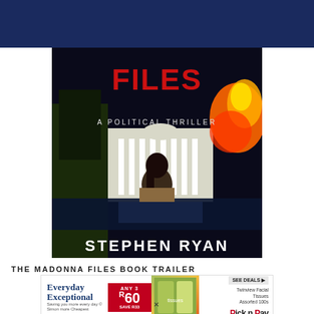Navigation bar with home, menu, and search icons
[Figure (illustration): Book cover for 'The Madonna Files' by Stephen Ryan – a political thriller. Shows the White House with fire/explosion on the right side, a woman with dark hair viewed from behind in the foreground, red title text 'FILES' at top, subtitle 'A POLITICAL THRILLER', author name 'STEPHEN RYAN' at bottom in white text.]
THE MADONNA FILES BOOK TRAILER
[Figure (other): Pick n Pay advertisement banner: 'Everyday Exceptional – Saving you more every day' with an offer of Any 3 for R60 Save R33, showing a Twinview Facial Tissue Assorted 100s product, with a SEE DEALS button and Pick n Pay logo.]